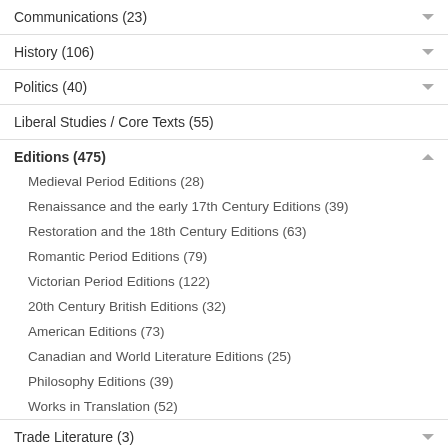Communications (23)
History (106)
Politics (40)
Liberal Studies / Core Texts (55)
Editions (475)
Medieval Period Editions (28)
Renaissance and the early 17th Century Editions (39)
Restoration and the 18th Century Editions (63)
Romantic Period Editions (79)
Victorian Period Editions (122)
20th Century British Editions (32)
American Editions (73)
Canadian and World Literature Editions (25)
Philosophy Editions (39)
Works in Translation (52)
Trade Literature (3)
Packages & Special Order (54)
Passcodes (28)